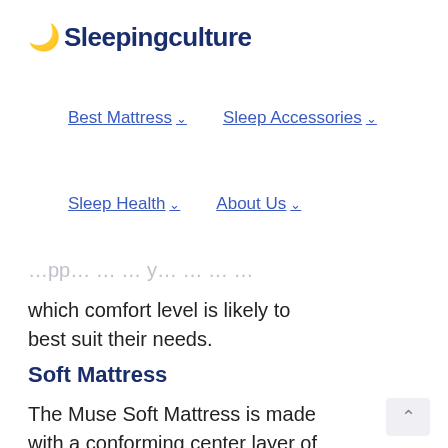🌙 Sleepingculture
Best Mattress ∨
Sleep Accessories ∨
Sleep Health ∨
About Us ∨
…which comfort level is likely to best suit their needs.
Soft Mattress
The Muse Soft Mattress is made with a conforming center layer of 3-lb memory foam for a floating, cloud-like feel. Despite its